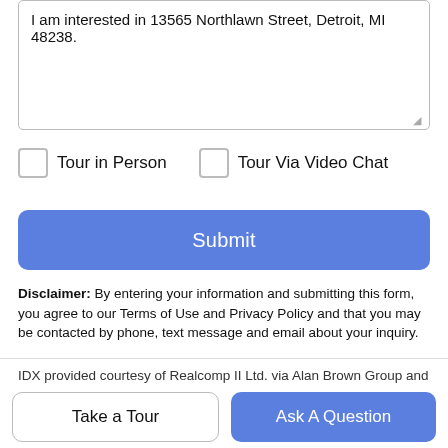I am interested in 13565 Northlawn Street, Detroit, MI 48238.
Tour in Person
Tour Via Video Chat
Submit
Disclaimer: By entering your information and submitting this form, you agree to our Terms of Use and Privacy Policy and that you may be contacted by phone, text message and email about your inquiry.
IDX provided courtesy of Realcomp II Ltd. via Alan Brown Group and Realcomp. © 2022 Realcomp II Ltd. Shareholders. Real estate
Take a Tour
Ask A Question